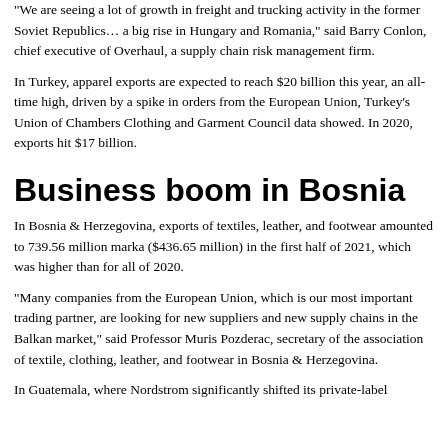“We are seeing a lot of growth in freight and trucking activity in the former Soviet Republics… a big rise in Hungary and Romania,” said Barry Conlon, chief executive of Overhaul, a supply chain risk management firm.
In Turkey, apparel exports are expected to reach $20 billion this year, an all-time high, driven by a spike in orders from the European Union, Turkey’s Union of Chambers Clothing and Garment Council data showed. In 2020, exports hit $17 billion.
Business boom in Bosnia
In Bosnia & Herzegovina, exports of textiles, leather, and footwear amounted to 739.56 million marka ($436.65 million) in the first half of 2021, which was higher than for all of 2020.
“Many companies from the European Union, which is our most important trading partner, are looking for new suppliers and new supply chains in the Balkan market,” said Professor Muris Pozderac, secretary of the association of textile, clothing, leather, and footwear in Bosnia & Herzegovina.
In Guatemala, where Nordstrom significantly shifted its private-label